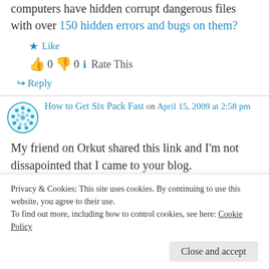computers have hidden corrupt dangerous files with over 150 hidden errors and bugs on them?
★ Like
👍 0 👎 0 ℹ Rate This
↪ Reply
How to Get Six Pack Fast on April 15, 2009 at 2:58 pm
My friend on Orkut shared this link and I'm not dissapointed that I came to your blog.
Privacy & Cookies: This site uses cookies. By continuing to use this website, you agree to their use. To find out more, including how to control cookies, see here: Cookie Policy
Close and accept